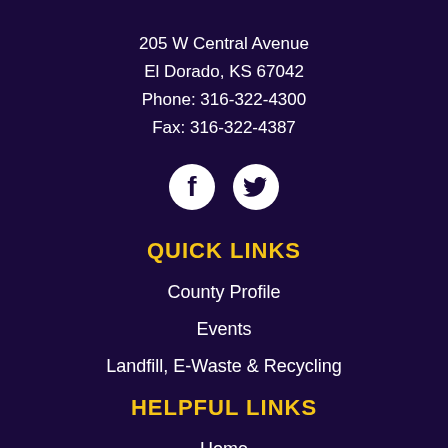205 W Central Avenue
El Dorado, KS 67042
Phone: 316-322-4300
Fax: 316-322-4387
[Figure (illustration): Facebook and Twitter social media icons (white circle icons on dark purple background)]
QUICK LINKS
County Profile
Events
Landfill, E-Waste & Recycling
HELPFUL LINKS
Home
Site Map
Accessibility